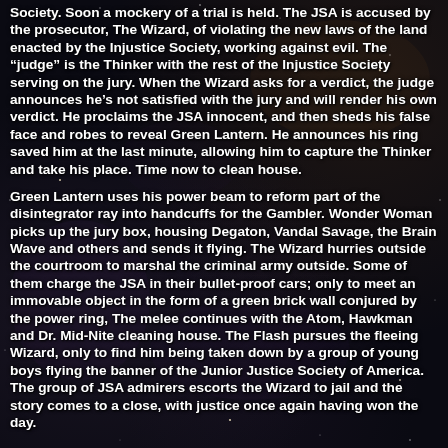Society. Soon a mockery of a trial is held. The JSA is accused by the prosecutor, The Wizard, of violating the new laws of the land enacted by the Injustice Society, working against evil. The "judge" is the Thinker with the rest of the Injustice Society serving on the jury. When the Wizard asks for a verdict, the judge announces he's not satisfied with the jury and will render his own verdict. He proclaims the JSA innocent, and then sheds his false face and robes to reveal Green Lantern. He announces his ring saved him at the last minute, allowing him to capture the Thinker and take his place. Time now to clean house.
Green Lantern uses his power beam to reform part of the disintegrator ray into handcuffs for the Gambler. Wonder Woman picks up the jury box, housing Degaton, Vandal Savage, the Brain Wave and others and sends it flying. The Wizard hurries outside the courtroom to marshal the criminal army outside. Some of them charge the JSA in their bullet-proof cars; only to meet an immovable object in the form of a green brick wall conjured by the power ring, The melee continues with the Atom, Hawkman and Dr. Mid-Nite cleaning house. The Flash pursues the fleeing Wizard, only to find him being taken down by a group of young boys flying the banner of the Junior Justice Society of America. The group of JSA admirers escorts the Wizard to jail and the story comes to a close, with justice once again having won the day.